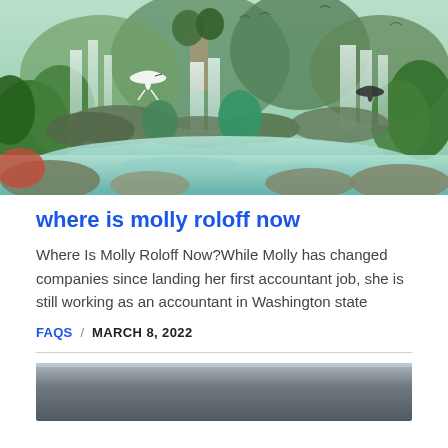[Figure (photo): A lush tropical landscape with multiple waterfalls, green jungle, moss-covered rocks, a turquoise pool, and white cranes/herons flying through mist.]
where is molly roloff now
Where Is Molly Roloff Now?While Molly has changed companies since landing her first accountant job, she is still working as an accountant in Washington state
FAQS / MARCH 8, 2022
[Figure (photo): Partially visible image at the bottom of the page — appears to be a dark grey gradient background, possibly a header or banner image.]